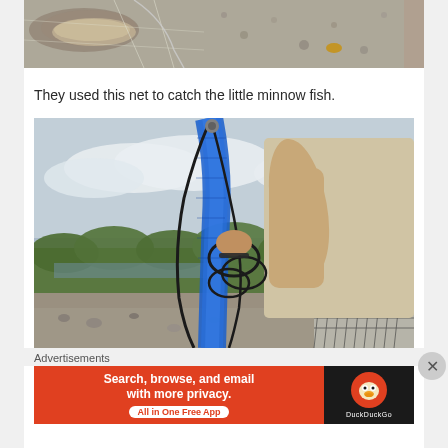[Figure (photo): Top portion of a fish caught in a net, lying on gravel/pavement surface. The photo is cropped showing only the bottom portion.]
They used this net to catch the little minnow fish.
[Figure (photo): A person in a beige/cream t-shirt holding a blue fishing net with black ropes/cords. The net is gathered and held upright. Background shows a river, gravel bank, and green trees under a cloudy sky.]
Advertisements
[Figure (screenshot): DuckDuckGo advertisement banner. Left side is orange/red with text 'Search, browse, and email with more privacy. All in One Free App'. Right side is dark/black with the DuckDuckGo logo (duck face in orange circle) and 'DuckDuckGo' text in white.]